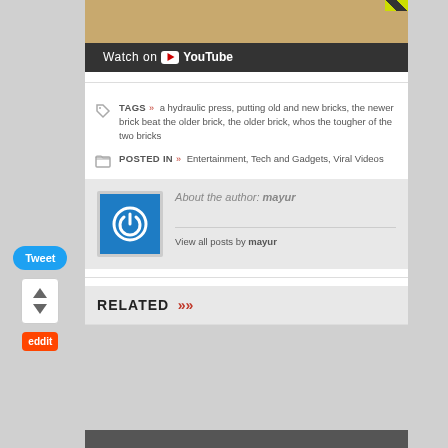[Figure (screenshot): YouTube video thumbnail with 'Watch on YouTube' bar at the bottom, showing construction bricks with yellow/black diagonal caution stripes]
TAGS » a hydraulic press, putting old and new bricks, the newer brick beat the older brick, the older brick, whos the tougher of the two bricks
POSTED IN » Entertainment, Tech and Gadgets, Viral Videos
About the author: mayur
View all posts by mayur
RELATED »